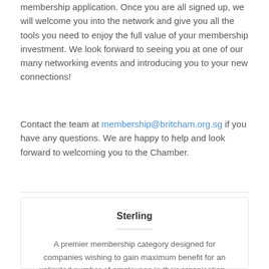Now it's over to you. Signup below, and we will process your membership application. Once you are all signed up, we will welcome you into the network and give you all the tools you need to enjoy the full value of your membership investment. We look forward to seeing you at one of our many networking events and introducing you to your new connections!
Contact the team at membership@britcham.org.sg if you have any questions. We are happy to help and look forward to welcoming you to the Chamber.
Sterling
A premier membership category designed for companies wishing to gain maximum benefit for an unlimited number of employees in their organisation - ideal for MNCs with multiple departments